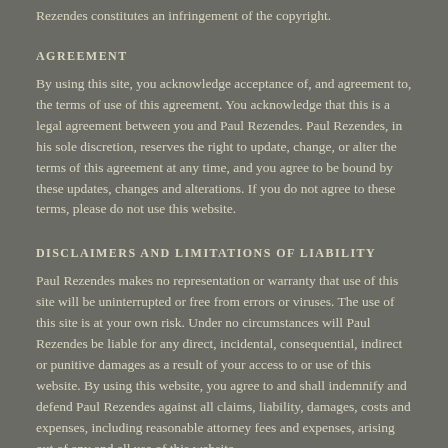Rezendes constitutes an infringement of the copyright.
AGREEMENT
By using this site, you acknowledge acceptance of, and agreement to, the terms of use of this agreement. You acknowledge that this is a legal agreement between you and Paul Rezendes. Paul Rezendes, in his sole discretion, reserves the right to update, change, or alter the terms of this agreement at any time, and you agree to be bound by these updates, changes and alterations. If you do not agree to these terms, please do not use this website.
DISCLAIMERS AND LIMITATIONS OF LIABILITY
Paul Rezendes makes no representation or warranty that use of this site will be uninterrupted or free from errors or viruses. The use of this site is at your own risk. Under no circumstances will Paul Rezendes be liable for any direct, incidental, consequential, indirect or punitive damages as a result of your access to or use of this website. By using this website, you agree to and shall indemnify and defend Paul Rezendes against all claims, liability, damages, costs and expenses, including reasonable attorney fees and expenses, arising out of any and all use of this website.